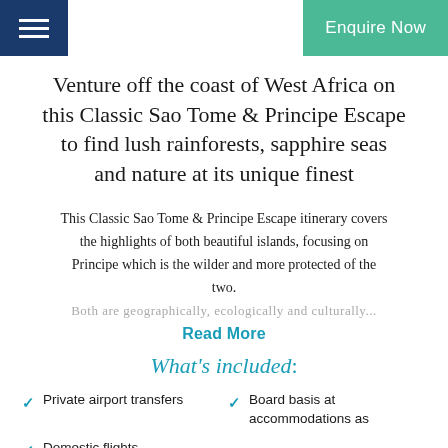Enquire Now
Venture off the coast of West Africa on this Classic Sao Tome & Principe Escape to find lush rainforests, sapphire seas and nature at its unique finest
This Classic Sao Tome & Principe Escape itinerary covers the highlights of both beautiful islands, focusing on Principe which is the wilder and more protected of the two.
Both are geographically, ecologically and culturally...
Read More
What's included:
Private airport transfers
Domestic flights
Board basis at accommodations as